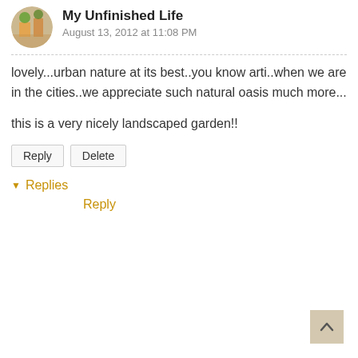My Unfinished Life
August 13, 2012 at 11:08 PM
lovely...urban nature at its best..you know arti..when we are in the cities..we appreciate such natural oasis much more...

this is a very nicely landscaped garden!!
Reply | Delete
▾ Replies
Reply